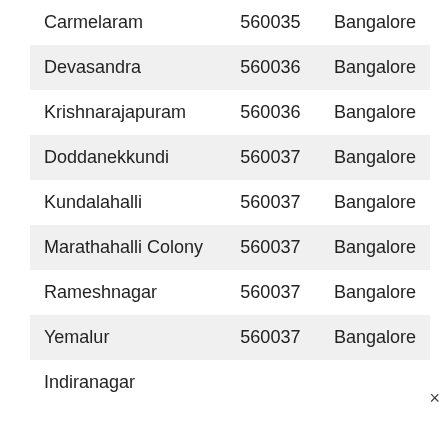| Carmelaram | 560035 | Bangalore |
| Devasandra | 560036 | Bangalore |
| Krishnarajapuram | 560036 | Bangalore |
| Doddanekkundi | 560037 | Bangalore |
| Kundalahalli | 560037 | Bangalore |
| Marathahalli Colony | 560037 | Bangalore |
| Rameshnagar | 560037 | Bangalore |
| Yemalur | 560037 | Bangalore |
| Indiranagar |  |  |